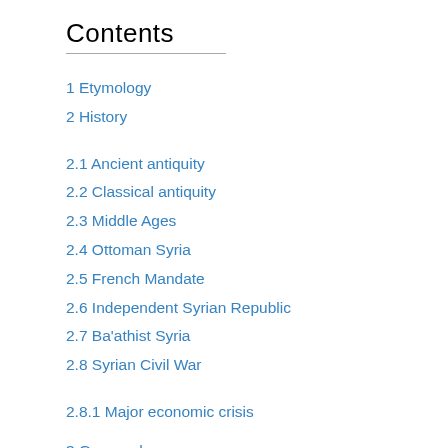Contents
1 Etymology
2 History
2.1 Ancient antiquity
2.2 Classical antiquity
2.3 Middle Ages
2.4 Ottoman Syria
2.5 French Mandate
2.6 Independent Syrian Republic
2.7 Ba'athist Syria
2.8 Syrian Civil War
2.8.1 Major economic crisis
3 Geography
3.1 Biodiversity
4 Politics and government
4.1 Military